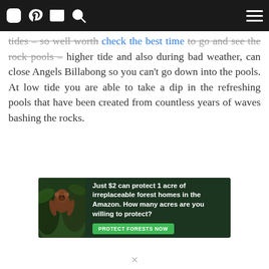[Navigation bar with Instagram, Pinterest, Email, Search icons and hamburger menu]
tides – so well worth check the best time to go and see the rock pools – higher tide and also during bad weather, can close Angels Billabong so you can't go down into the pools. At low tide you are able to take a dip in the refreshing pools that have been created from countless years of waves bashing the rocks.
[Figure (photo): Advertisement banner for Amazon forest protection: dark green background with animal (possibly orangutan) on left side. Text reads: Just $2 can protect 1 acre of irreplaceable forest homes in the Amazon. How many acres are you willing to protect? Button: PROTECT FORESTS NOW]